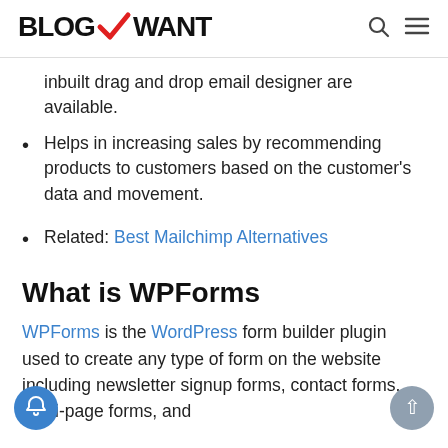BLOGWANT
inbuilt drag and drop email designer are available.
Helps in increasing sales by recommending products to customers based on the customer's data and movement.
Related: Best Mailchimp Alternatives
What is WPForms
WPForms is the WordPress form builder plugin used to create any type of form on the website including newsletter signup forms, contact forms, multi-page forms, and